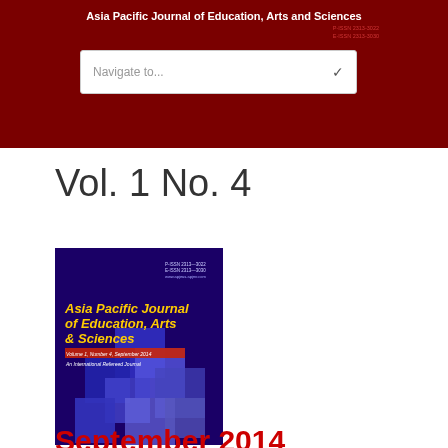Asia Pacific Journal of Education, Arts and Sciences
P-ISSN 2313-3022
E-ISSN 2313-3030
[Figure (screenshot): Navigate to... dropdown selector with chevron arrow]
Vol. 1 No. 4
[Figure (illustration): Journal cover image: Asia Pacific Journal of Education, Arts & Sciences, blue geometric pattern background with yellow and white text]
September 2014